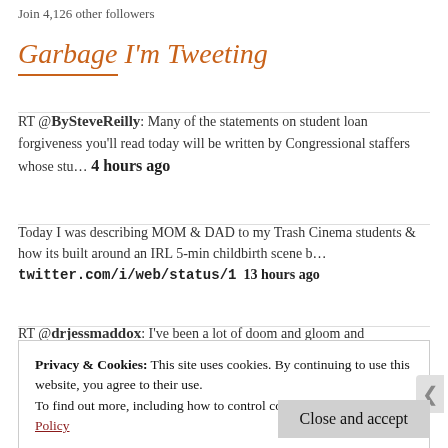Join 4,126 other followers
Garbage I'm Tweeting
RT @BySteveReilly: Many of the statements on student loan forgiveness you'll read today will be written by Congressional staffers whose stu… 4 hours ago
Today I was describing MOM & DAD to my Trash Cinema students & how its built around an IRL 5-min childbirth scene b… twitter.com/i/web/status/1  13 hours ago
RT @drjessmaddox: I've been a lot of doom and gloom and
Privacy & Cookies: This site uses cookies. By continuing to use this website, you agree to their use.
To find out more, including how to control cookies, see here: Cookie Policy
Close and accept